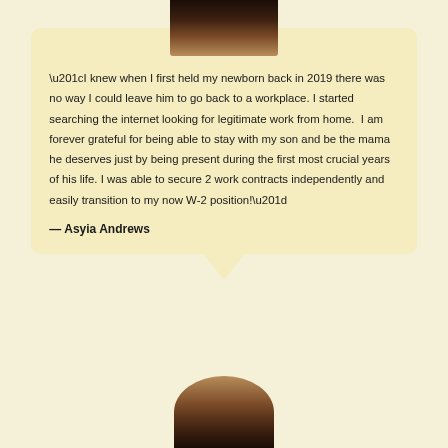[Figure (photo): Partial photo of a person with dark hair at the top of a speech bubble card]
“I knew when I first held my newborn back in 2019 there was no way I could leave him to go back to a workplace. I started searching the internet looking for legitimate work from home.  I am forever grateful for being able to stay with my son and be the mama he deserves just by being present during the first most crucial years of his life. I was able to secure 2 work contracts independently and easily transition to my now W-2 position!”
— Asyia Andrews
[Figure (photo): Partial photo of a person at the bottom of the page]